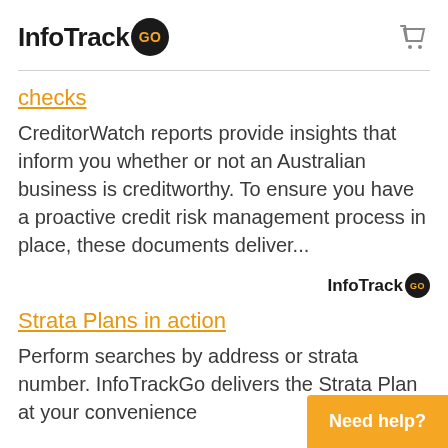[Figure (logo): InfoTrack GO logo with shopping cart icon on the right]
checks
CreditorWatch reports provide insights that inform you whether or not an Australian business is creditworthy. To ensure you have a proactive credit risk management process in place, these documents deliver...
[Figure (logo): InfoTrack GO small logo aligned right]
Strata Plans in action
Perform searches by address or strata number. InfoTrackGo delivers the Strata Plan at your convenience
Need help?